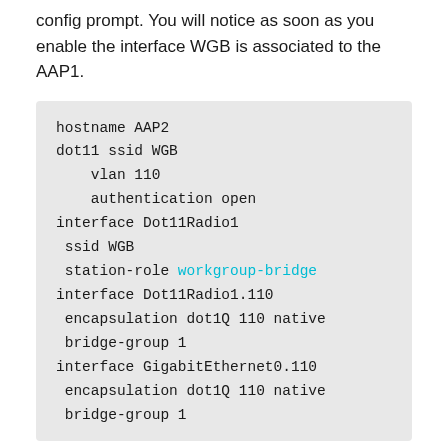config prompt. You will notice as soon as you enable the interface WGB is associated to the AAP1.
[Figure (screenshot): Code block showing router/AP configuration for AAP2 with hostname, dot11 ssid WGB, vlan, authentication, interface Dot11Radio1 with ssid WGB and station-role workgroup-bridge, interface Dot11Radio1.110 and GigabitEthernet0.110 with encapsulation and bridge-group settings.]